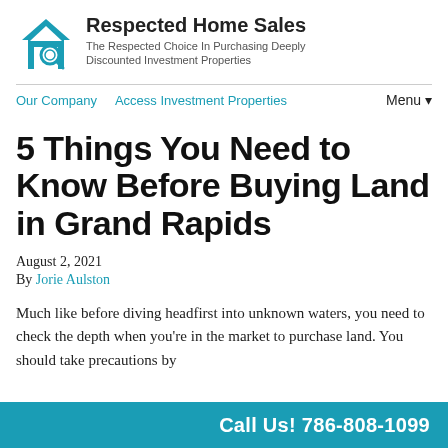Respected Home Sales
The Respected Choice In Purchasing Deeply Discounted Investment Properties
Our Company   Access Investment Properties   Menu ▼
5 Things You Need to Know Before Buying Land in Grand Rapids
August 2, 2021
By Jorie Aulston
Much like before diving headfirst into unknown waters, you need to check the depth when you're in the market to purchase land. You should take precautions by
Call Us! 786-808-1099